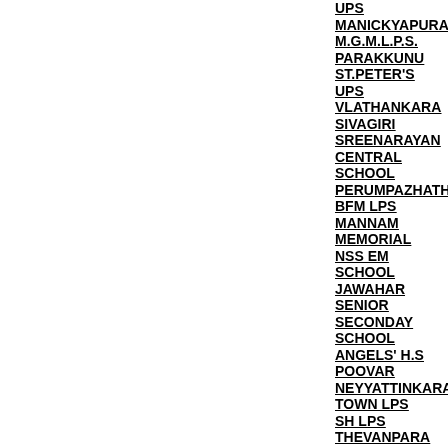UPS
MANICKYAPURA
M.G.M.L.P.S.
PARAKKUNU
ST.PETER'S
UPS
VLATHANKARA
SIVAGIRI
SREENARAYAN CENTRAL SCHOOL
PERUMPAZHATHA
BFM LPS
MANNAM MEMORIAL
NSS EM SCHOOL
JAWAHAR SENIOR SECONDAY SCHOOL
ANGELS' H.S
POOVAR
NEYYATTINKARA
TOWN LPS
SH LPS
THEVANPARA